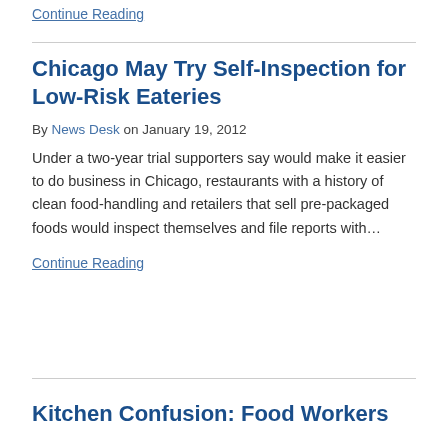Continue Reading
Chicago May Try Self-Inspection for Low-Risk Eateries
By News Desk on January 19, 2012
Under a two-year trial supporters say would make it easier to do business in Chicago, restaurants with a history of clean food-handling and retailers that sell pre-packaged foods would inspect themselves and file reports with…
Continue Reading
Kitchen Confusion: Food Workers